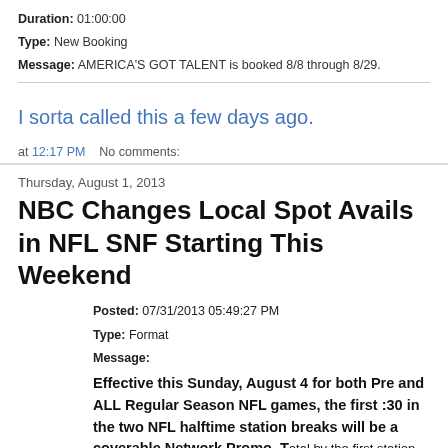Duration: 01:00:00
Type: New Booking
Message: AMERICA'S GOT TALENT is booked 8/8 through 8/29.
I sorta called this a few days ago.
at 12:17 PM    No comments:
Thursday, August 1, 2013
NBC Changes Local Spot Avails in NFL SNF Starting This Weekend
Posted: 07/31/2013 05:49:27 PM
Type: Format
Message:
Effective this Sunday, August 4 for both Pre and ALL Regular Season NFL games, the first :30 in the two NFL halftime station breaks will be a coverable Network Promo. T...